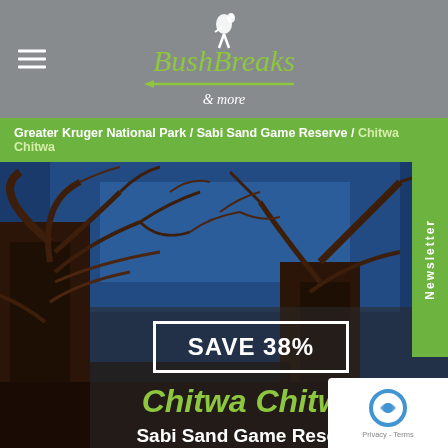BushBreaks & more
Greater Kruger National Park / Sabi Sand Game Reserve / Chitwa Chitwa
[Figure (photo): Night/dusk photo of bare tree branches silhouetted against a deep blue sky, with large tree trunks in the foreground.]
Newsletter
SAVE 38%
Chitwa Chitwa
Sabi Sand Game Reserve
Greater Kruger National Park